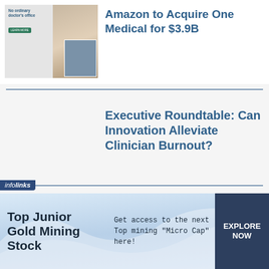[Figure (photo): Thumbnail image with 'No ordinary doctor's office' text and green button, with photo of people on right side]
Amazon to Acquire One Medical for $3.9B
Executive Roundtable: Can Innovation Alleviate Clinician Burnout?
5 Public Health Challenges to Watch in the Post-Pandemic Era
[Figure (infographic): Infolinks advertisement banner: Top Junior Gold Mining Stock - Get access to the next Top mining "Micro Cap" here! - EXPLORE NOW]